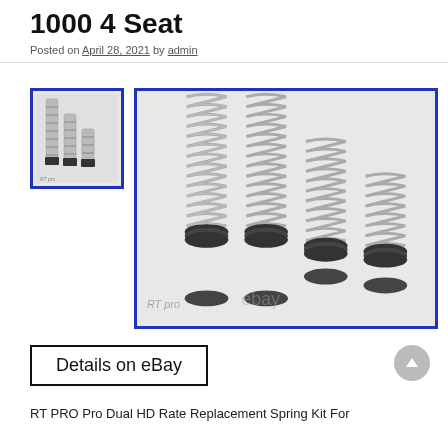1000 4 Seat
Posted on April 28, 2021 by admin
[Figure (photo): Thumbnail image of RT PRO dual HD rate replacement springs — multiple coil springs of varying heights with black end caps on white background]
[Figure (photo): Main large image of RT PRO Pro Dual HD Rate Replacement Spring Kit — four coil springs of varying heights with black end caps on white background, with RT PRO and eBay watermarks]
Details on eBay
RT PRO Pro Dual HD Rate Replacement Spring Kit For